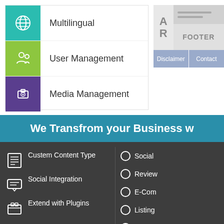[Figure (screenshot): Menu panel with three items: Multilingual (teal icon), User Management (green icon), Media Management (purple icon)]
[Figure (wireframe): Website wireframe showing AR placeholder, footer box, and navigation with Disclaimer and Contact buttons]
We Transfrom your Business w
Custem Content Type
Social Integration
Extend with Plugins
Custom Theme Creation
Web Application built over WordPress
Latest Script Libraries (Jquery, Backbone, Bootstrap, Underscore.js)
Social
Review
E-Com
Listing
Portal
100% Mobile